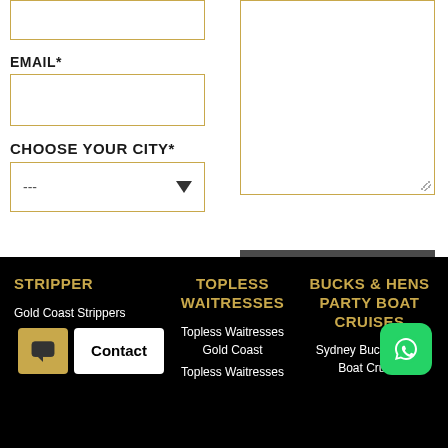EMAIL*
[Figure (other): Email input field with gold border]
CHOOSE YOUR CITY*
[Figure (other): Dropdown select field with gold border and arrow, placeholder '---']
[Figure (other): Large message textarea with gold border]
[Figure (other): SEND MESSAGE dark grey button]
STRIPPER | TOPLESS WAITRESSES | BUCKS & HENS PARTY BOAT CRUISES
Gold Coast Strippers
Topless Waitresses Gold Coast
Topless Waitresses
Sydney Bucks Party Boat Cruise